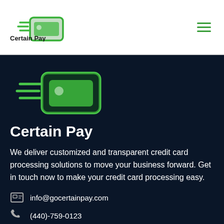[Figure (logo): Certain Pay logo: green credit card with speed lines, text 'Certain Pay' below]
[Figure (other): Green hamburger menu icon (three horizontal lines)]
[Figure (logo): Large Certain Pay logo in dark section: green credit card icon with speed lines]
Certain Pay
We deliver customized and transparent credit card processing solutions to move your business forward. Get in touch now to make your credit card processing easy.
info@gocertainpay.com
(440)-759-0123